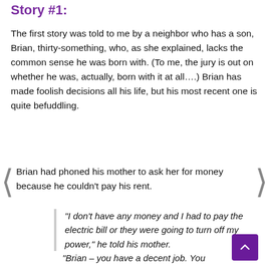Story #1:
The first story was told to me by a neighbor who has a son, Brian, thirty-something, who, as she explained, lacks the common sense he was born with. (To me, the jury is out on whether he was, actually, born with it at all....) Brian has made foolish decisions all his life, but his most recent one is quite befuddling.
Brian had phoned his mother to ask her for money because he couldn't pay his rent.
“I don’t have any money and I had to pay the electric bill or they were going to turn off my power,” he told his mother.
“Brian – you have a decent job. You